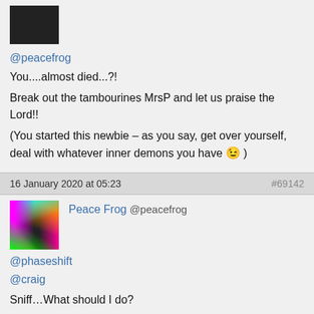[Figure (photo): Small dark avatar image in top left]
@peacefrog
You....almost died...?!
Break out the tambourines MrsP and let us praise the Lord!!
(You started this newbie – as you say, get over yourself, deal with whatever inner demons you have 😉 )
16 January 2020 at 05:23
#69142
[Figure (photo): Colorful neon light streaks avatar for Peace Frog user]
Peace Frog @peacefrog
@phaseshift
@craig
Sniff…What should I do?